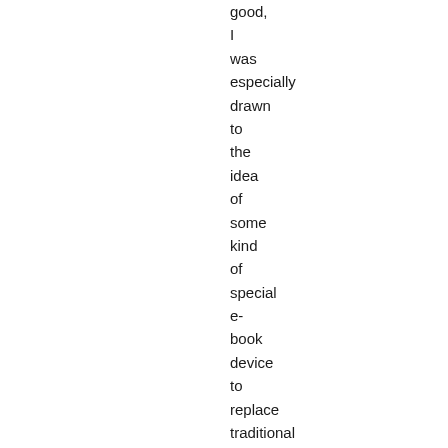good, I was especially drawn to the idea of some kind of special e-book device to replace traditional casebooks. Many students surely would pay a lot for